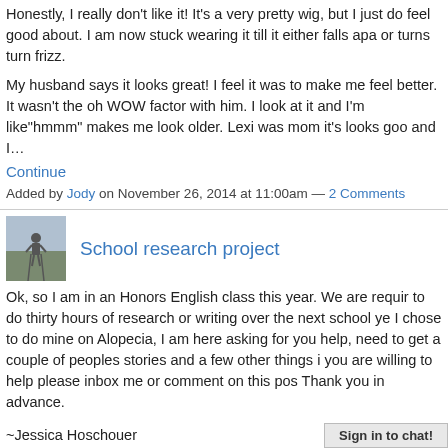Honestly, I really don't like it! It's a very pretty wig, but I just don't feel good about. I am now stuck wearing it till it either falls apart or turns turn frizz.
My husband says it looks great! I feel it was to make me feel better. It wasn't the oh WOW factor with him. I look at it and I'm like"hmmm" makes me look older. Lexi was mom it's looks goo and I…
Continue
Added by Jody on November 26, 2014 at 11:00am — 2 Comments
School research project
Ok, so I am in an Honors English class this year. We are required to do thirty hours of research or writing over the next school year. I chose to do mine on Alopecia, I am here asking for you help, I need to get a couple of peoples stories and a few other things if you are willing to help please inbox me or comment on this post. Thank you in advance.

~Jessica Hoschouer
Sign in to chat!